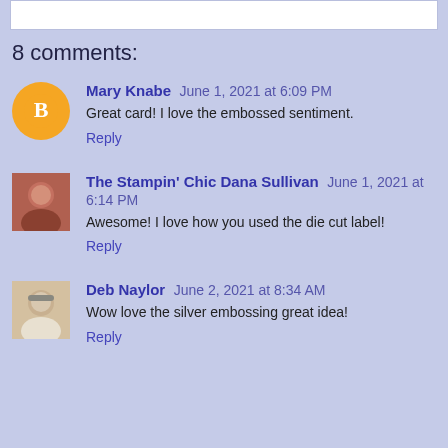8 comments:
Mary Knabe June 1, 2021 at 6:09 PM
Great card! I love the embossed sentiment.
Reply
The Stampin' Chic Dana Sullivan June 1, 2021 at 6:14 PM
Awesome! I love how you used the die cut label!
Reply
Deb Naylor June 2, 2021 at 8:34 AM
Wow love the silver embossing great idea!
Reply